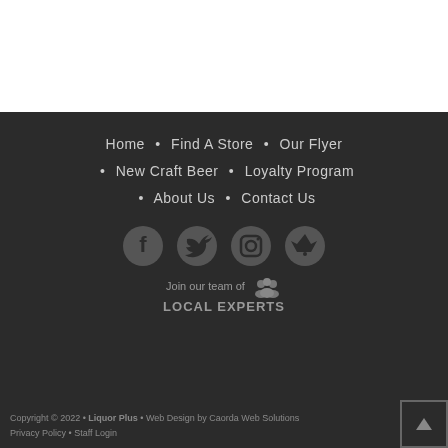Home • Find A Store • Our Flyer
• New Craft Beer • Loyalty Program
• About Us • Contact Us
[Figure (logo): Social media icons: Facebook, Twitter, Instagram, Untappd]
Join our team of LOCAL EXPERTS
Copyright © 2022 • Liquor Plus • Web Design by Caorda Web Solutions • Privacy Policy • Staff Login